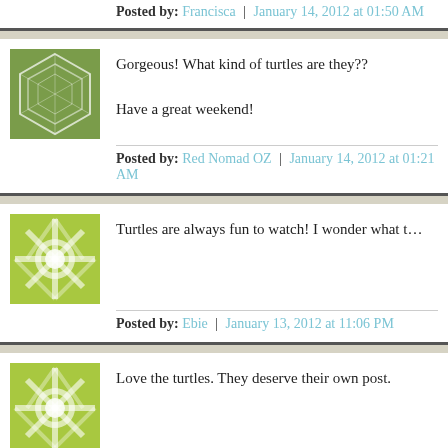Posted by: Francisca | January 14, 2012 at 01:50 AM
Gorgeous! What kind of turtles are they??
Have a great weekend!
Posted by: Red Nomad OZ | January 14, 2012 at 01:21 AM
Turtles are always fun to watch! I wonder what they're look
Posted by: Ebie | January 13, 2012 at 11:06 PM
Love the turtles. They deserve their own post.
Posted by: Yogi | January 13, 2012 at 08:56 PM